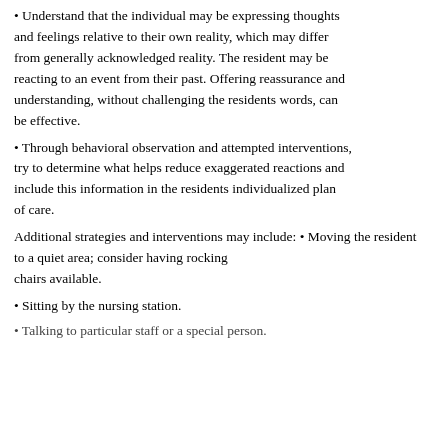Understand that the individual may be expressing thoughts and feelings relative to their own reality, which may differ from generally acknowledged reality. The resident may be reacting to an event from their past. Offering reassurance and understanding, without challenging the residents words, can be effective.
Through behavioral observation and attempted interventions, try to determine what helps reduce exaggerated reactions and include this information in the residents individualized plan of care.
Additional strategies and interventions may include: • Moving the resident to a quiet area; consider having rocking chairs available.
Sitting by the nursing station.
Talking to particular staff or a special person.